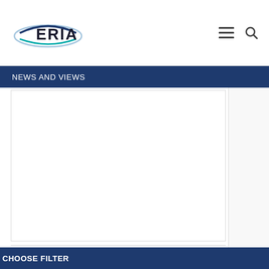ERIA
NEWS AND VIEWS
[Figure (other): Image placeholder area, white rectangle with border]
OPINIONS
Remembering Abe and Japan's Rise
CHOOSE FILTER